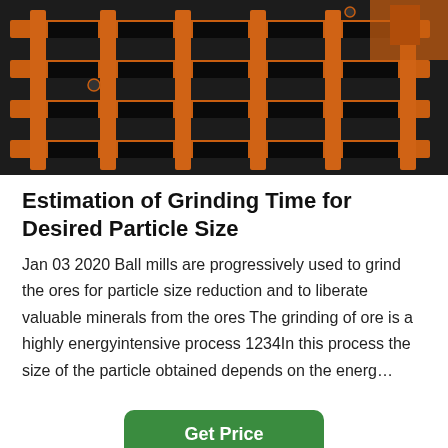[Figure (photo): Industrial machinery with orange metal grid/grate structure, likely a ball mill or mining equipment viewed from above/side angle against dark background.]
Estimation of Grinding Time for Desired Particle Size
Jan 03 2020 Ball mills are progressively used to grind the ores for particle size reduction and to liberate valuable minerals from the ores The grinding of ore is a highly energyintensive process 1234In this process the size of the particle obtained depends on the energ…
[Figure (other): Get Price button — green rounded rectangle button with white bold text reading 'Get Price']
[Figure (photo): Bottom section showing a customer service agent (woman with headset) in a circular green frame centered at the bottom, with a background industrial photo. A green circle with up-arrow appears top right. Footer bar with 'Leave Message' on left and 'Chat Online' on right in white text on dark background.]